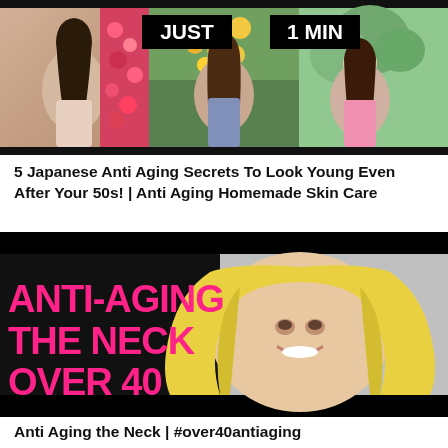[Figure (photo): Video thumbnail showing three Asian women in outdoor settings with a black overlay banner reading 'JUST 1 MIN']
5 Japanese Anti Aging Secrets To Look Young Even After Your 50s! | Anti Aging Homemade Skin Care
[Figure (photo): Video thumbnail showing a blonde woman smiling with pink text overlay reading 'ANTI-AGING THE NECK OVER 40' on a dark background]
Anti Aging the Neck | #over40antiaging